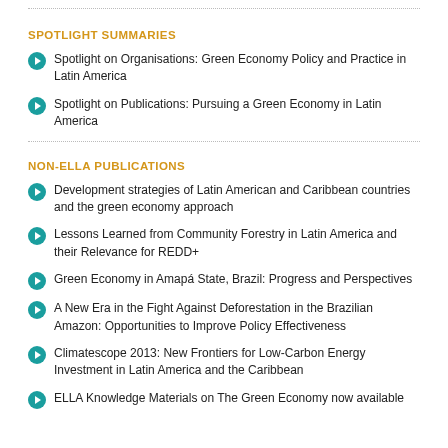SPOTLIGHT SUMMARIES
Spotlight on Organisations: Green Economy Policy and Practice in Latin America
Spotlight on Publications: Pursuing a Green Economy in Latin America
NON-ELLA PUBLICATIONS
Development strategies of Latin American and Caribbean countries and the green economy approach
Lessons Learned from Community Forestry in Latin America and their Relevance for REDD+
Green Economy in Amapá State, Brazil: Progress and Perspectives
A New Era in the Fight Against Deforestation in the Brazilian Amazon: Opportunities to Improve Policy Effectiveness
Climatescope 2013: New Frontiers for Low-Carbon Energy Investment in Latin America and the Caribbean
ELLA Knowledge Materials on The Green Economy now available